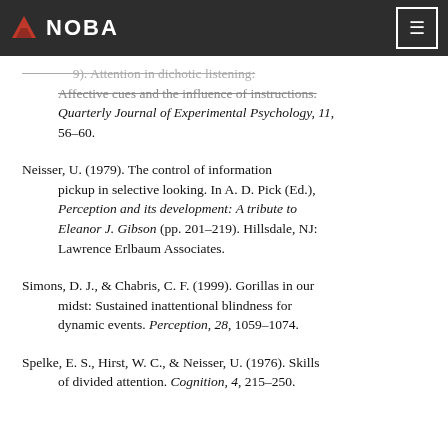NOBA
(9). Attention in dichotic listening: Affective cues and the influence of instructions. Quarterly Journal of Experimental Psychology, 11, 56–60.
Neisser, U. (1979). The control of information pickup in selective looking. In A. D. Pick (Ed.), Perception and its development: A tribute to Eleanor J. Gibson (pp. 201–219). Hillsdale, NJ: Lawrence Erlbaum Associates.
Simons, D. J., & Chabris, C. F. (1999). Gorillas in our midst: Sustained inattentional blindness for dynamic events. Perception, 28, 1059–1074.
Spelke, E. S., Hirst, W. C., & Neisser, U. (1976). Skills of divided attention. Cognition, 4, 215–250.